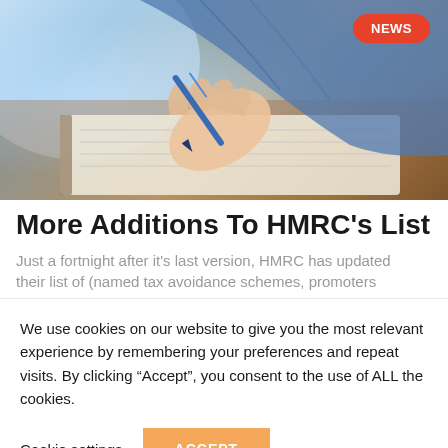[Figure (photo): Person's hand holding a blue pen, writing in a notebook on a wooden table. Person wearing a blue denim jacket.]
More Additions To HMRC's List
Just a fortnight after it's last version, HMRC has updated their list of (named tax avoidance schemes, promoters
We use cookies on our website to give you the most relevant experience by remembering your preferences and repeat visits. By clicking “Accept”, you consent to the use of ALL the cookies.
Cookie settings
ACCEPT